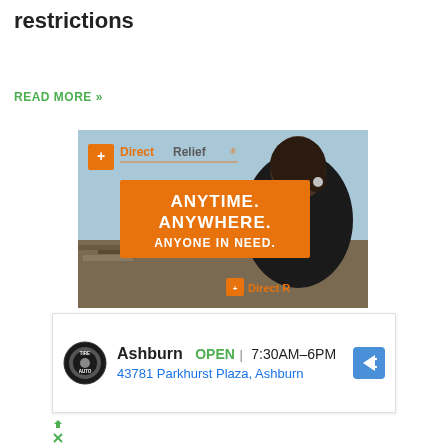restrictions
READ MORE »
[Figure (photo): Direct Relief advertisement showing a person in a black Direct Relief shirt looking out over disaster rubble, with text 'ANYTIME. ANYWHERE. ANYONE IN NEED.' on an orange banner and the Direct Relief logo.]
[Figure (infographic): Tire Auto advertisement showing Ashburn location, OPEN status, hours 7:30AM-6PM, and address 43781 Parkhurst Plaza, Ashburn with navigation icon.]